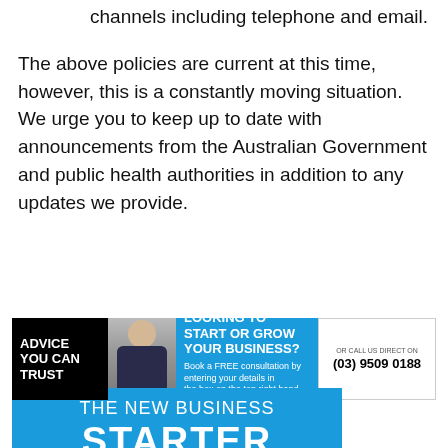channels including telephone and email.
The above policies are current at this time, however, this is a constantly moving situation. We urge you to keep up to date with announcements from the Australian Government and public health authorities in addition to any updates we provide.
[Figure (infographic): Banner advertisement: 'ADVICE YOU CAN TRUST' with photo of man in suit. Blue section reads 'LOOKING TO START OR GROW YOUR BUSINESS? Book a FREE consultation by entering your details in the box on the top right hand side of this page.' White box on right: 'OR CALL US DIRECT ON (03) 9509 0188']
[Figure (infographic): Blue promotional banner reading 'THE NEW BUSINESS STARTER' in white text]